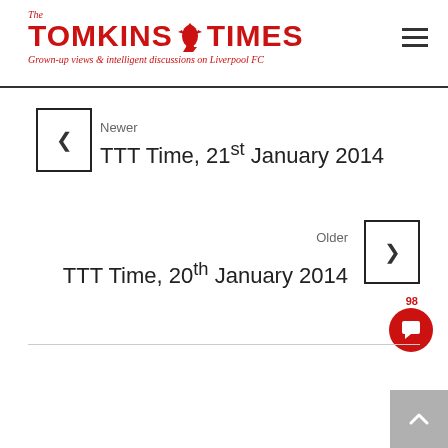The Tomkins Times — Grown-up views & intelligent discussions on Liverpool FC
Newer
TTT Time, 21st January 2014
Older
TTT Time, 20th January 2014